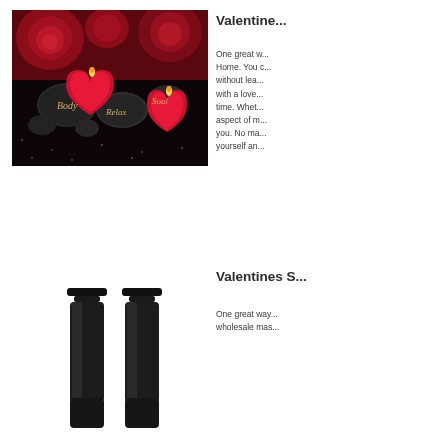[Figure (photo): Spa-themed photo with black stones labeled Body, Relax, Soul; red heart-shaped candles and red roses on dark background]
Valentine...
One great w... Home. You c... without lea... with a love... time. Whet... aspect of m... you. No ma... yourself an...
Valentines S...
[Figure (photo): Two black massage oil or lotion bottles on white background]
One great way... wholesale mas...